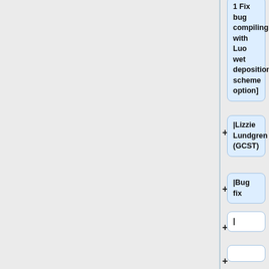1 Fix bug compiling with Luo wet deposition scheme option]
|Lizzie Lundgren (GCST)
|Bug fix
|
|-valign="top"
!colspan="4" bgcolor="#CCFFFF"|Updates that affect GCHP only